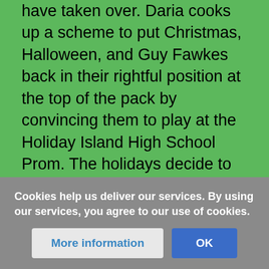have taken over. Daria cooks up a scheme to put Christmas, Halloween, and Guy Fawkes back in their rightful position at the top of the pack by convincing them to play at the Holiday Island High School Prom. The holidays decide to stay after they see who's running the place, and Quinn is finally off the hook when Cupid's love spell wears off and Helen and Jake go back to their old, arguing selves.
==Reputation of the Episode==
==Trivia==
Mintbucket
Edits
Cookies help us deliver our services. By using our services, you agree to our use of cookies.